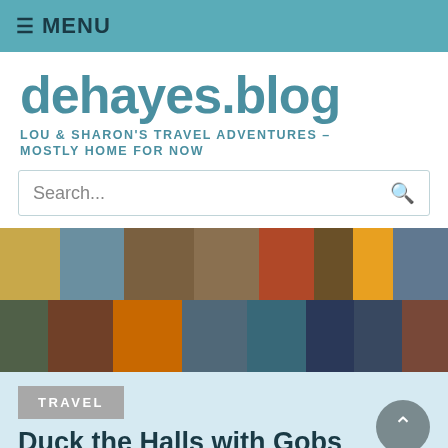≡ MENU
dehayes.blog
LOU & SHARON'S TRAVEL ADVENTURES – MOSTLY HOME FOR NOW
Search...
[Figure (photo): Photo collage strip showing two rows of travel and personal photos including dogs, people, wildlife, trains, and tropical scenes]
TRAVEL
Duck the Halls with Gobs